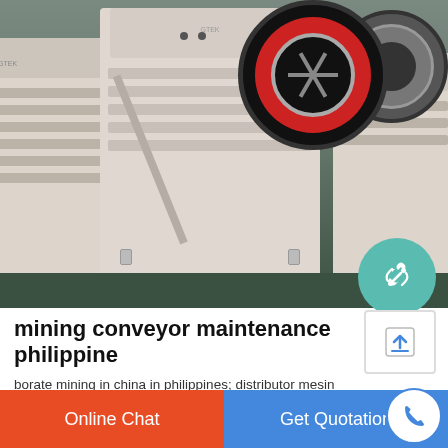[Figure (photo): Industrial jaw crusher machines in a factory setting, painted white and beige with red flywheels, arranged side by side on a green factory floor]
mining conveyor maintenance philippine
borate mining in china in philippines; distributor mesin stone crusher type 3040 di indonesia in philippines; ... jasa design belt conveyor in philippines: ... Home / belt conveyor maintenance cost estimation in
Online Chat   Get Quotation